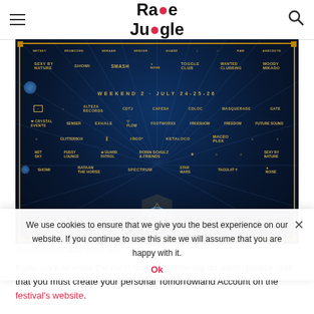Rave Jungle
[Figure (photo): Tomorrowland 2020 stage hosts festival lineup poster with gold text artist names on dark blue background with rays and Tomorrowland shield logo. Weekend 2 · July 24-25-26. Artists include Net Sky, Shomi, SMASH, Woody Mikado, Crystal Events, Exhale, Flow, Footworxx, Freeshow, Freedom, Maceo Plex, Ketaloco, Robin Schulz, Spectrum, Star Wars, Tagulat, Sexy by Nature, and many more.]
Tomorrowland 2020 stage hosts
If you want to enter the most magical gathering on earth, please note that you must create your personal Tomorrowland Account on the festival's website.
We use cookies to ensure that we give you the best experience on our website. If you continue to use this site we will assume that you are happy with it.